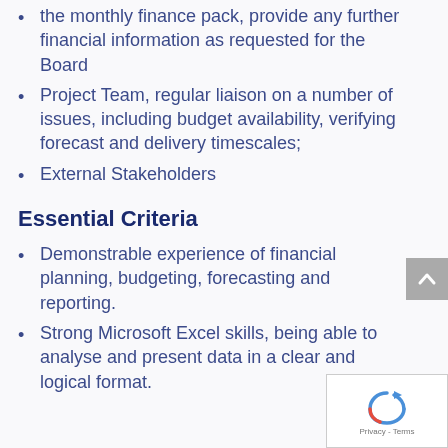the monthly finance pack, provide any further financial information as requested for the Board
Project Team, regular liaison on a number of issues, including budget availability, verifying forecast and delivery timescales;
External Stakeholders
Essential Criteria
Demonstrable experience of financial planning, budgeting, forecasting and reporting.
Strong Microsoft Excel skills, being able to analyse and present data in a clear and logical format.